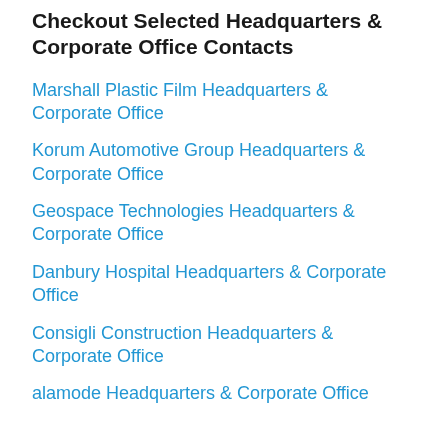Checkout Selected Headquarters & Corporate Office Contacts
Marshall Plastic Film Headquarters & Corporate Office
Korum Automotive Group Headquarters & Corporate Office
Geospace Technologies Headquarters & Corporate Office
Danbury Hospital Headquarters & Corporate Office
Consigli Construction Headquarters & Corporate Office
alamode Headquarters & Corporate Office